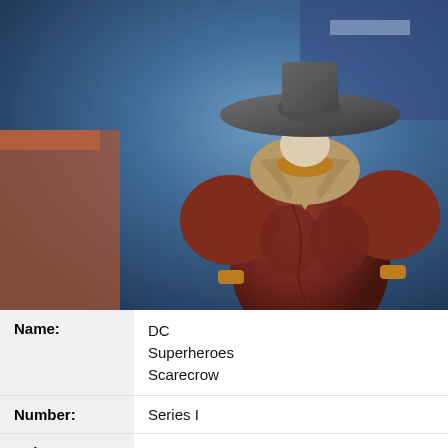[Figure (photo): Close-up photo of a DC Superheroes Scarecrow action figure. The figure has a wide-brimmed metallic hat, a burlap collar/neck wrap, and a dark reddish-brown muscular body. The background is blurred showing blue and orange/red store shelving.]
| Name: | DC
Superheroes
Scarecrow |
| Number: | Series I |
| Release Date: | 2006 |